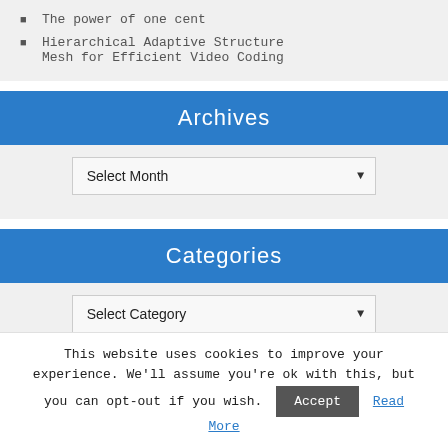The power of one cent
Hierarchical Adaptive Structure Mesh for Efficient Video Coding
Archives
Select Month
Categories
Select Category
Meta
This website uses cookies to improve your experience. We'll assume you're ok with this, but you can opt-out if you wish.
Accept
Read More